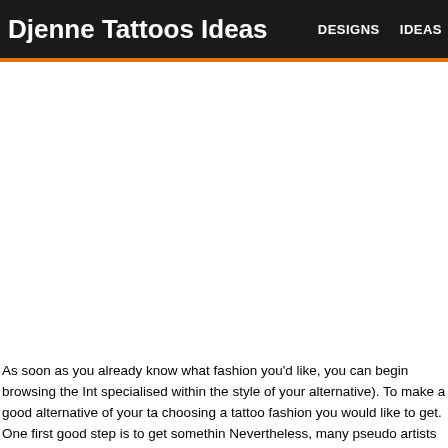Djenne Tattoos Ideas | DESIGNS | IDEAS
As soon as you already know what fashion you'd like, you can begin browsing the Int specialised within the style of your alternative). To make a good alternative of your ta choosing a tattoo fashion you would like to get. One first good step is to get somethin Nevertheless, many pseudo artists steal photos from other artists and show them as help by itself. But this search by itself won't offer you many clues about the quality of artwork. The search of an artist via Web is somewhat difficult so you have got to ma